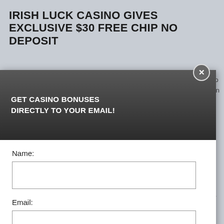IRISH LUCK CASINO GIVES EXCLUSIVE $30 FREE CHIP NO DEPOSIT
clusive $30 free chip no deposit sign up with the link on our 30DISCO
bonuscode 30DISCO and get
new players signing up with
perience, we use cookies. Using this site, you agree to our cookie & privacy policy.
[Figure (screenshot): Email subscription popup modal with dark header 'GET CASINO BONUSES DIRECTLY TO YOUR EMAIL!', name and email input fields, Submit button, and disclaimer text about Privacy and Cookie policy. A close (X) button appears at top right of modal.]
By subscribing you are certifying that you have reviewed and accepted our updated Privacy and Cookie policy.